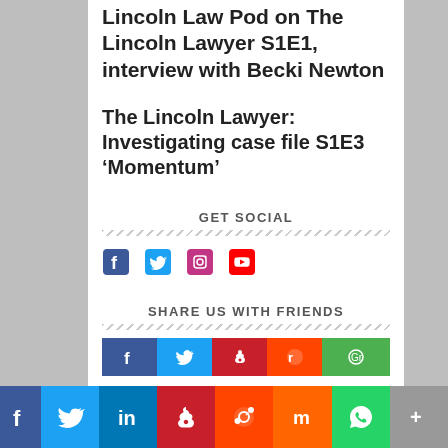Lincoln Law Pod on The Lincoln Lawyer S1E1, interview with Becki Newton
The Lincoln Lawyer: Investigating case file S1E3 ‘Momentum’
GET SOCIAL
[Figure (infographic): Social media icons: Facebook, Twitter, Instagram, YouTube in blue/blue/purple/red colors]
SHARE US WITH FRIENDS
[Figure (infographic): Share buttons row: Facebook (blue), Twitter (light blue), Pinterest (red), Reddit (orange-red), Mix (orange), WhatsApp (green), More (gray)]